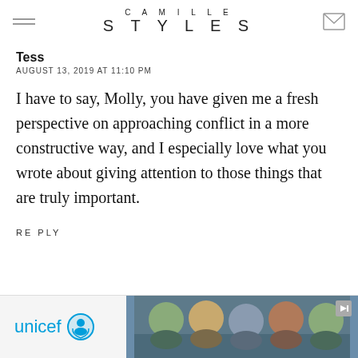CAMILLE STYLES
Tess
AUGUST 13, 2019 AT 11:10 PM
I have to say, Molly, you have given me a fresh perspective on approaching conflict in a more constructive way, and I especially love what you wrote about giving attention to those things that are truly important.
REPLY
[Figure (photo): UNICEF advertisement banner with unicef logo and photo of smiling children]